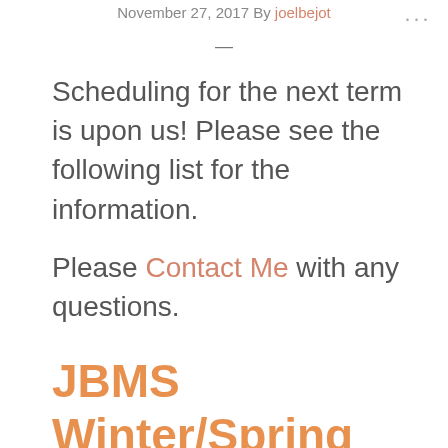November 27, 2017 By joelbejot
Scheduling for the next term is upon us! Please see the following list for the information.
Please Contact Me with any questions.
JBMS Winter/Spring 2018 Schedule